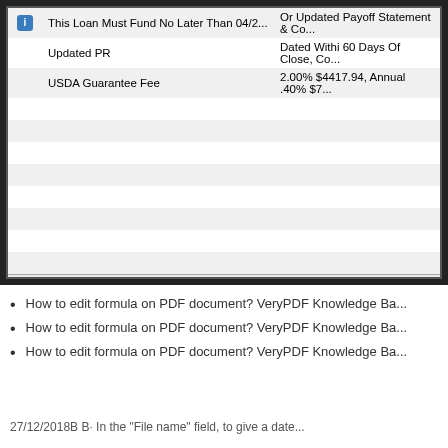|  | Item | Details |
| --- | --- | --- |
| [i] | This Loan Must Fund No Later Than 04/2... | Or Updated Payoff Statement & Co... |
|  | Updated PR | Dated Withi 60 Days Of Close, Co... |
|  | USDA Guarantee Fee | 2.00% $4417.94, Annual .40% $7... |
|  |  |  |
|  |  |  |
|  |  |  |
|  |  |  |
|  |  |  |
|  |  |  |
|  |  |  |
|  |  |  |
|  |  |  |
Learn more...
How to edit formula on PDF document? VeryPDF Knowledge Ba...
How to edit formula on PDF document? VeryPDF Knowledge Ba...
How to edit formula on PDF document? VeryPDF Knowledge Ba...
27/12/2018B B· In the "File name" field, to give a date...